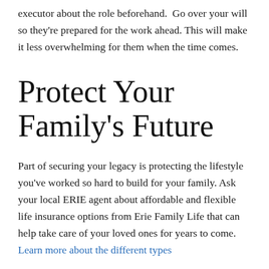executor about the role beforehand.  Go over your will so they're prepared for the work ahead. This will make it less overwhelming for them when the time comes.
Protect Your Family's Future
Part of securing your legacy is protecting the lifestyle you've worked so hard to build for your family. Ask your local ERIE agent about affordable and flexible life insurance options from Erie Family Life that can help take care of your loved ones for years to come. Learn more about the different types